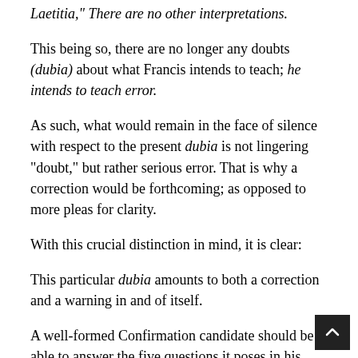Laetitia,” There are no other interpretations.
This being so, there are no longer any doubts (dubia) about what Francis intends to teach; he intends to teach error.
As such, what would remain in the face of silence with respect to the present dubia is not lingering “doubt,” but rather serious error. That is why a correction would be forthcoming; as opposed to more pleas for clarity.
With this crucial distinction in mind, it is clear:
This particular dubia amounts to both a correction and a warning in and of itself.
A well-formed Confirmation candidate should be able to answer the five questions it poses in his sleep. That’s how fundamental the errors under review truly are.
The present dubia is also properly considered a formal charge of material heresy, as well as an opportunity for the